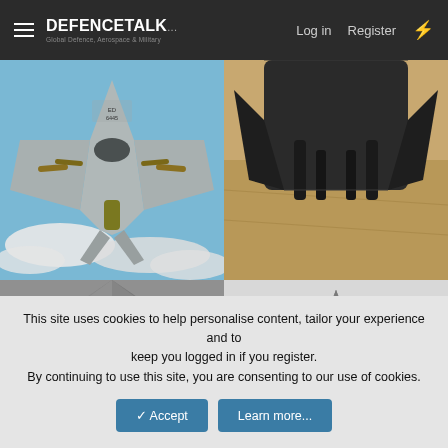DEFENCETALK — Log in  Register
[Figure (photo): F-16 fighter jet viewed from below showing weapons payload against blue sky with clouds, tail code ED 6445]
[Figure (photo): Close-up underside view of a dark military aircraft tail section with weapons payload over desert terrain]
[Figure (photo): Close-up detail of dark grey aircraft fuselage center section, flat angular surface with small circular marking]
[Figure (photo): Top-down render/model of a futuristic delta-wing stealth aircraft concept in grey]
[Figure (photo): Partial view of aircraft near water/ocean horizon]
[Figure (photo): Interior/cockpit detail of an aircraft with reddish-brown framing]
This site uses cookies to help personalise content, tailor your experience and to keep you logged in if you register.
By continuing to use this site, you are consenting to our use of cookies.